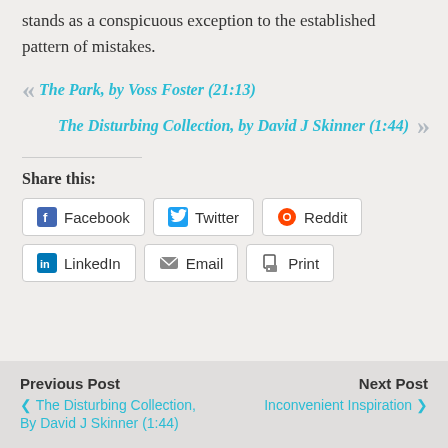stands as a conspicuous exception to the established pattern of mistakes.
« The Park, by Voss Foster (21:13)
The Disturbing Collection, by David J Skinner (1:44) »
Share this:
Facebook Twitter Reddit LinkedIn Email Print
Previous Post: ❮ The Disturbing Collection, By David J Skinner (1:44) | Next Post: Inconvenient Inspiration ❯